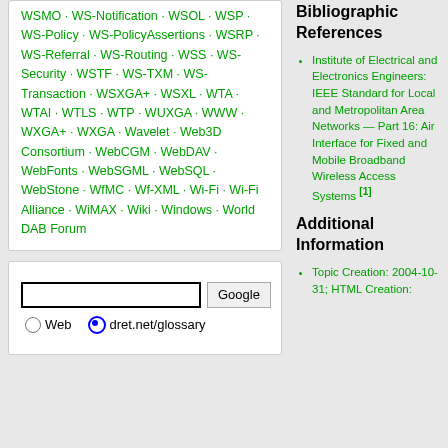WSMO · WS-Notification · WSOL · WSP · WS-Policy · WS-PolicyAssertions · WSRP · WS-Referral · WS-Routing · WSS · WS-Security · WSTF · WS-TXM · WS-Transaction · WSXGA+ · WSXL · WTA · WTAI · WTLS · WTP · WUXGA · WWW · WXGA+ · WXGA · Wavelet · Web3D Consortium · WebCGM · WebDAV · WebFonts · WebSGML · WebSQL · WebStone · WfMC · Wf-XML · Wi-Fi · Wi-Fi Alliance · WiMAX · Wiki · Windows · World DAB Forum
[Figure (other): Google search widget with text input and radio buttons for Web and dret.net/glossary]
Bibliographic References
Institute of Electrical and Electronics Engineers: IEEE Standard for Local and Metropolitan Area Networks — Part 16: Air Interface for Fixed and Mobile Broadband Wireless Access Systems [1]
Additional Information
Topic Creation: 2004-10-31; HTML Creation: